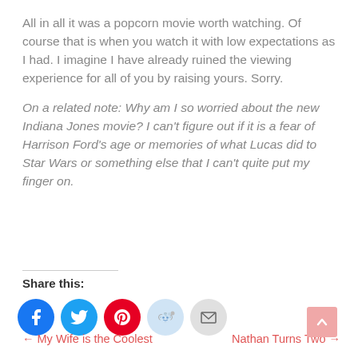All in all it was a popcorn movie worth watching. Of course that is when you watch it with low expectations as I had. I imagine I have already ruined the viewing experience for all of you by raising yours. Sorry.
On a related note: Why am I so worried about the new Indiana Jones movie? I can't figure out if it is a fear of Harrison Ford's age or memories of what Lucas did to Star Wars or something else that I can't quite put my finger on.
Share this:
[Figure (infographic): Social sharing icons: Facebook (blue circle), Twitter (blue circle), Pinterest (red circle), Reddit (light blue circle), Email (gray circle)]
← My Wife is the Coolest    Nathan Turns Two →